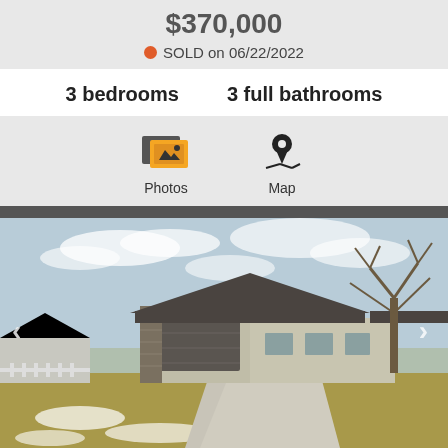$370,000
SOLD on 06/22/2022
3 bedrooms   3 full bathrooms
[Figure (infographic): Photos and Map navigation icons with labels]
[Figure (photo): Exterior photo of a single-story ranch-style home with attached two-car garage, stone accents, concrete driveway, bare trees in background, overcast sky]